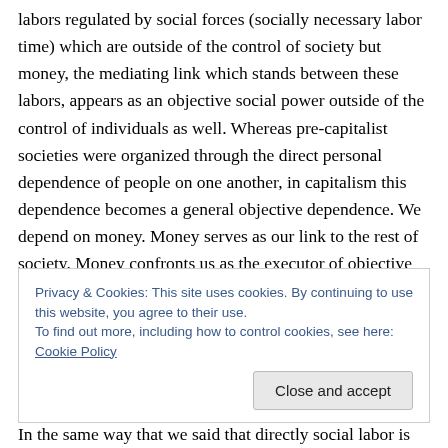labors regulated by social forces (socially necessary labor time) which are outside of the control of society but money, the mediating link which stands between these labors, appears as an objective social power outside of the control of individuals as well. Whereas pre-capitalist societies were organized through the direct personal dependence of people on one another, in capitalism this dependence becomes a general objective dependence. We depend on money. Money serves as our link to the rest of society. Money confronts us as the executor of objective economic laws.
Privacy & Cookies: This site uses cookies. By continuing to use this website, you agree to their use. To find out more, including how to control cookies, see here: Cookie Policy
In the same way that we said that directly social labor is